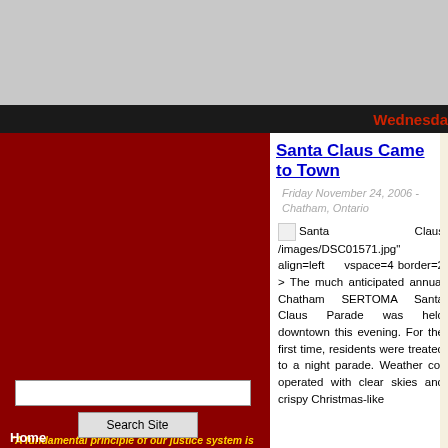[Figure (screenshot): Grey top banner area of a website]
Wednesda
"A fundamental principle of our justice system is the right of the public to attend hearings and publish information about court proceedings." - Ontario Superior Court of Justice
Santa Claus Came to Town
Friday November 24, 2006 - Chatham, Ontario
Santa Claus /images/DSC01571.jpg" align=left vspace=4 border=2 > The much anticipated annual Chatham SERTOMA Santa Claus Parade was held downtown this evening. For the first time, residents were treated to a night parade. Weather co-operated with clear skies and crispy Christmas-like
Home